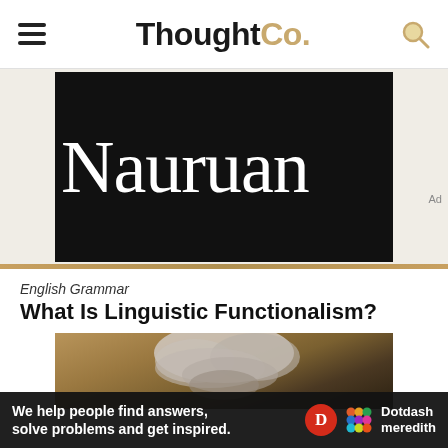ThoughtCo.
[Figure (illustration): Black banner with white text reading 'Nauruan' in a serif/rounded font]
English Grammar
What Is Linguistic Functionalism?
[Figure (photo): Partial photo of an elderly person with white/grey hair against a warm brown background]
We help people find answers, solve problems and get inspired.
[Figure (logo): Dotdash Meredith logo with red D circle and colorful dots grid]